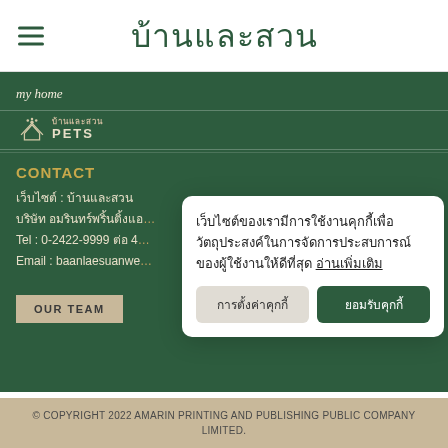บ้านและสวน
my home
[Figure (logo): บ้านและสวน PETS logo with house icon]
CONTACT
เว็บไซต์ : บ้านและสวน
บริษัท อมรินทร์พริ้นติ้งแอ...
Tel : 0-2422-9999 ต่อ 4...
Email : baanlaesuanwe...
OUR TEAM
เว็บไซต์ของเรามีการใช้งานคุกกี้เพื่อวัตถุประสงค์ในการจัดการประสบการณ์ของผู้ใช้งานให้ดีที่สุด อ่านเพิ่มเติม
การตั้งค่าคุกกี้
ยอมรับคุกกี้
© COPYRIGHT 2022 AMARIN PRINTING AND PUBLISHING PUBLIC COMPANY LIMITED.